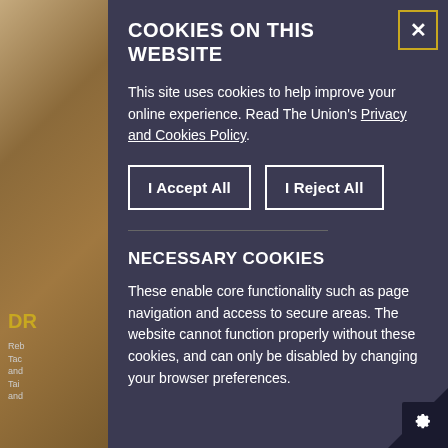[Figure (screenshot): Left sidebar showing a partial photo background with brick/stone texture and partial text 'DR' in gold color with small grey text below]
COOKIES ON THIS WEBSITE
This site uses cookies to help improve your online experience. Read The Union's Privacy and Cookies Policy.
I Accept All | I Reject All (buttons)
NECESSARY COOKIES
These enable core functionality such as page navigation and access to secure areas. The website cannot function properly without these cookies, and can only be disabled by changing your browser preferences.